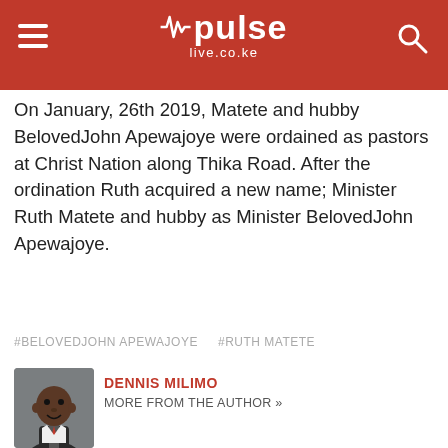pulse live.co.ke
On January, 26th 2019, Matete and hubby BelovedJohn Apewajoye were ordained as pastors at Christ Nation along Thika Road. After the ordination Ruth acquired a new name; Minister Ruth Matete and hubby as Minister BelovedJohn Apewajoye.
#BELOVEDJOHN APEWAJOYE   #RUTH MATETE
[Figure (photo): Portrait photo of Dennis Milimo, a man in a suit]
DENNIS MILIMO
MORE FROM THE AUTHOR »
Dennis Milimo is an experienced Digital and Broadcast Journalist with a demonstrated history of working in the broadcast and online media industry for over 4 years.
[Figure (infographic): Social media share buttons: Facebook, Twitter, Email, WhatsApp, LinkedIn]